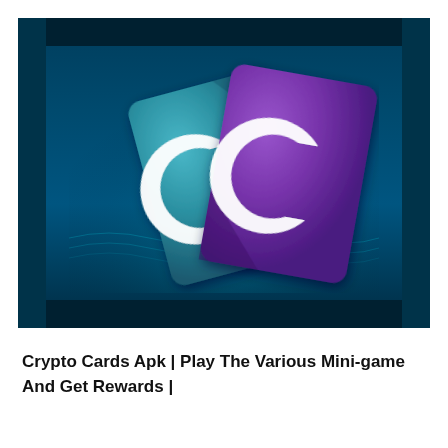[Figure (logo): Crypto Cards app logo: two overlapping playing-card style cards, one teal/blue tilted left and one purple tilted right, each showing a white stylized letter C, set against a dark navy blue background with subtle cyan glowing wave texture at the bottom. Dark horizontal bars at top and bottom, dark vertical bars on left and right sides.]
Crypto Cards Apk | Play The Various Mini-game And Get Rewards |